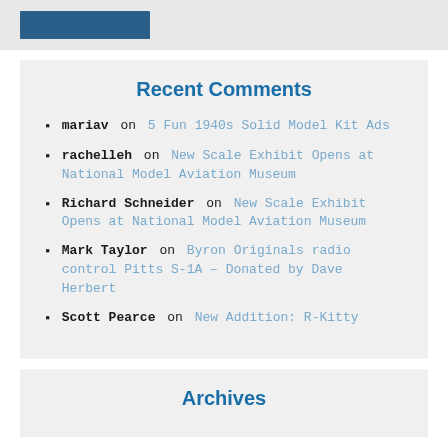[Figure (other): Blue rectangle banner/image placeholder at top of page]
Recent Comments
mariav on 5 Fun 1940s Solid Model Kit Ads
rachelleh on New Scale Exhibit Opens at National Model Aviation Museum
Richard Schneider on New Scale Exhibit Opens at National Model Aviation Museum
Mark Taylor on Byron Originals radio control Pitts S-1A – Donated by Dave Herbert
Scott Pearce on New Addition: R-Kitty
Archives